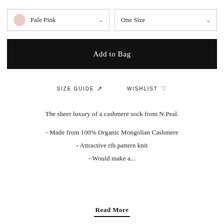[Figure (screenshot): Dropdown selector showing color Pale Pink with a circle swatch and a chevron arrow]
[Figure (screenshot): Dropdown selector showing One Size with a chevron arrow]
[Figure (screenshot): Black Add to Bag button]
SIZE GUIDE  ↗
WISHLIST  ♡
The sheer luxury of a cashmere sock from N.Peal.
- Made from 100% Organic Mongolian Cashmere
- Attractive rib pattern knit
- Would make a...
Read More